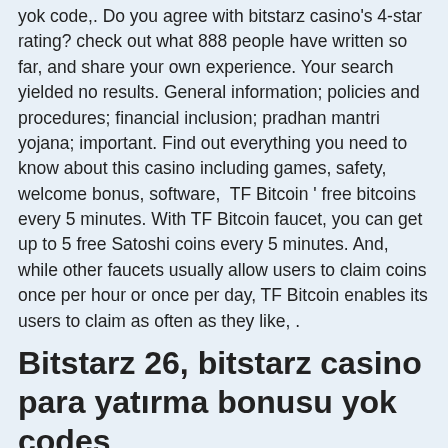yok code,. Do you agree with bitstarz casino's 4-star rating? check out what 888 people have written so far, and share your own experience. Your search yielded no results. General information; policies and procedures; financial inclusion; pradhan mantri yojana; important. Find out everything you need to know about this casino including games, safety, welcome bonus, software,  TF Bitcoin ' free bitcoins every 5 minutes. With TF Bitcoin faucet, you can get up to 5 free Satoshi coins every 5 minutes. And, while other faucets usually allow users to claim coins once per hour or once per day, TF Bitcoin enables its users to claim as often as they like, .
Bitstarz 26, bitstarz casino para yatırma bonusu yok codes